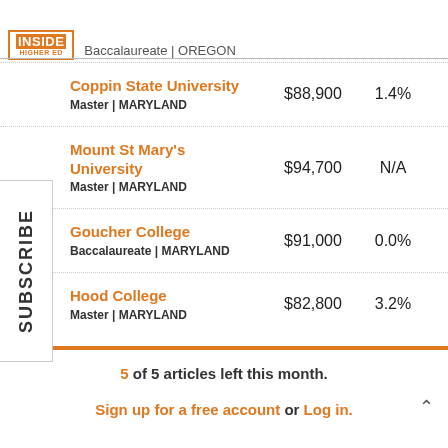Inside Higher Ed | Baccalaureate | OREGON
| School | Salary | Change |
| --- | --- | --- |
| Coppin State University
Master | MARYLAND | $88,900 | 1.4% |
| Mount St Mary's University
Master | MARYLAND | $94,700 | N/A |
| Goucher College
Baccalaureate | MARYLAND | $91,000 | 0.0% |
| Hood College
Master | MARYLAND | $82,800 | 3.2% |
5 of 5 articles left this month. Sign up for a free account or Log in.